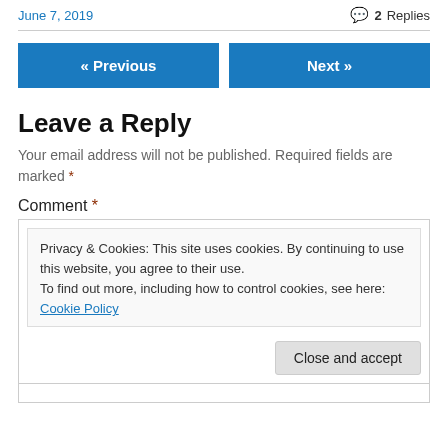June 7, 2019 | 2 Replies
« Previous | Next »
Leave a Reply
Your email address will not be published. Required fields are marked *
Comment *
Privacy & Cookies: This site uses cookies. By continuing to use this website, you agree to their use.
To find out more, including how to control cookies, see here: Cookie Policy
Close and accept